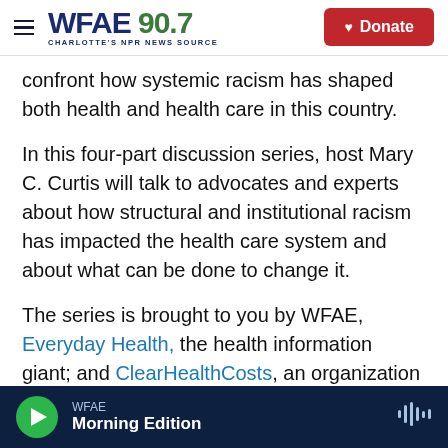WFAE 90.7 CHARLOTTE'S NPR NEWS SOURCE | Donate
confront how systemic racism has shaped both health and health care in this country.
In this four-part discussion series, host Mary C. Curtis will talk to advocates and experts about how structural and institutional racism has impacted the health care system and about what can be done to change it.
The series is brought to you by WFAE, Everyday Health, the health information giant; and ClearHealthCosts, an organization that creates transparency about medical costs.
WFAE Morning Edition